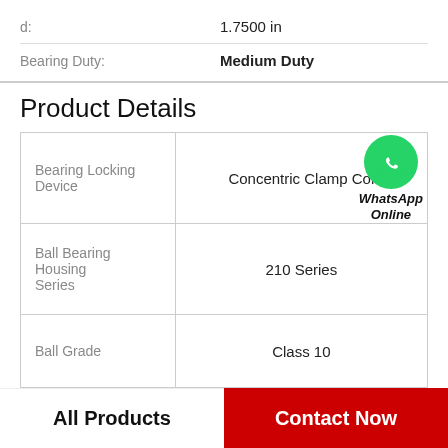| Property | Value |
| --- | --- |
| d: | 1.7500 in |
| Bearing Duty: | Medium Duty |
Product Details
| Property | Value |
| --- | --- |
| Bearing Locking Device | Concentric Clamp Col |
| Ball Bearing Housing Series | 210 Series |
| Ball Grade | Class 10 |
| Expansion Type | Non-Expansion |
| End Cap Groove | Yes |
All Products
Contact Now